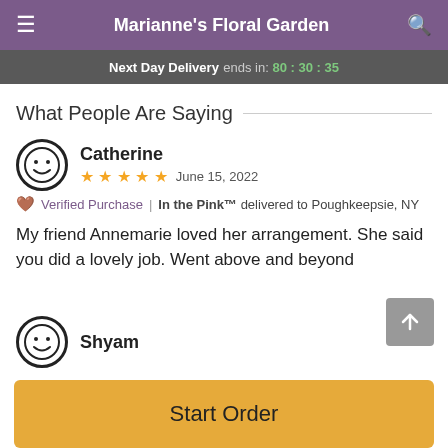Marianne's Floral Garden
Next Day Delivery ends in: 80:30:35
What People Are Saying
Catherine
★★★★★  June 15, 2022
🤎 Verified Purchase | In the Pink™ delivered to Poughkeepsie, NY
My friend Annemarie loved her arrangement. She said you did a lovely job. Went above and beyond
Shyam
Start Order